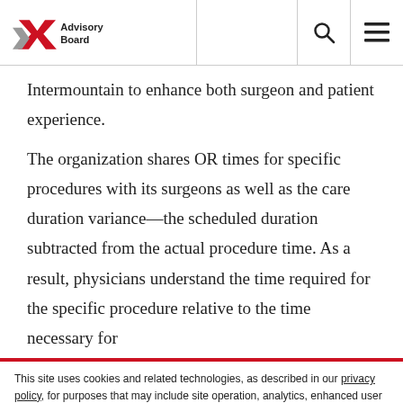Advisory Board
Intermountain to enhance both surgeon and patient experience.
The organization shares OR times for specific procedures with its surgeons as well as the care duration variance—the scheduled duration subtracted from the actual procedure time. As a result, physicians understand the time required for the specific procedure relative to the time necessary for
This site uses cookies and related technologies, as described in our privacy policy, for purposes that may include site operation, analytics, enhanced user experience, or advertising. You may choose to consent to our use of these technologies, or manage your own preferences.